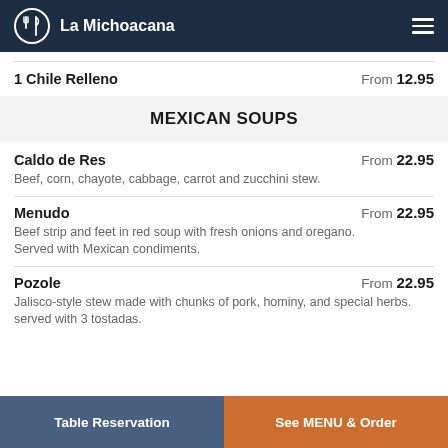La Michoacana
1 Chile Relleno — From 12.95
MEXICAN SOUPS
Caldo de Res — From 22.95
Beef, corn, chayote, cabbage, carrot and zucchini stew.
Menudo — From 22.95
Beef strip and feet in red soup with fresh onions and oregano. Served with Mexican condiments.
Pozole — From 22.95
Jalisco-style stew made with chunks of pork, hominy, and special herbs. served with 3 tostadas.
Table Reservation | See MENU & Order